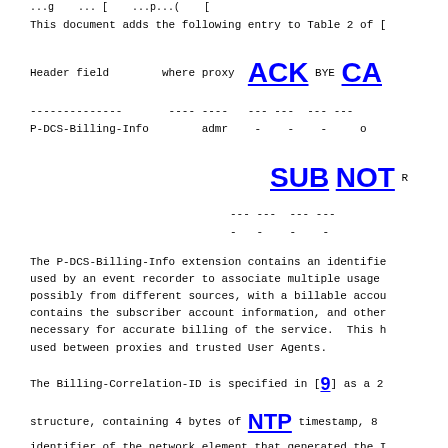...g...(...p...(...
This document adds the following entry to Table 2 of [
| Header field | where proxy | ACK | BYE | CA... |
| --- | --- | --- | --- | --- |
| ------------ | ---- ---- | --- | --- | --- | --- |
| P-DCS-Billing-Info | admr | - | - | - | o |
| SUB | NOT | R... |
| --- | --- | --- |
| --- | --- | --- | --- |
| - | - | - | - |
The P-DCS-Billing-Info extension contains an identifier used by an event recorder to associate multiple usage possibly from different sources, with a billable account contains the subscriber account information, and other necessary for accurate billing of the service. This h used between proxies and trusted User Agents.
The Billing-Correlation-ID is specified in [9] as a 2
structure, containing 4 bytes of NTP timestamp, 8 identifier of the network element that generated the I